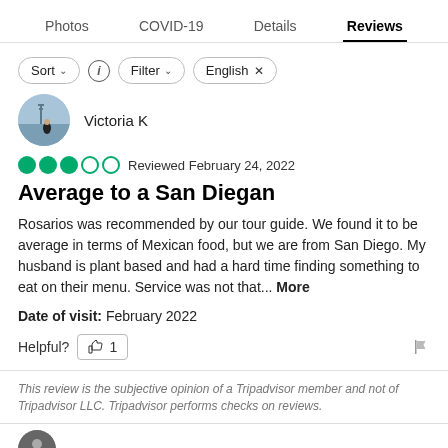Photos  COVID-19  Details  Reviews
Sort  Filter  English
Victoria K
Reviewed February 24, 2022
Average to a San Diegan
Rosarios was recommended by our tour guide. We found it to be average in terms of Mexican food, but we are from San Diego. My husband is plant based and had a hard time finding something to eat on their menu. Service was not that... More
Date of visit: February 2022
Helpful? 1
This review is the subjective opinion of a Tripadvisor member and not of Tripadvisor LLC. Tripadvisor performs checks on reviews.